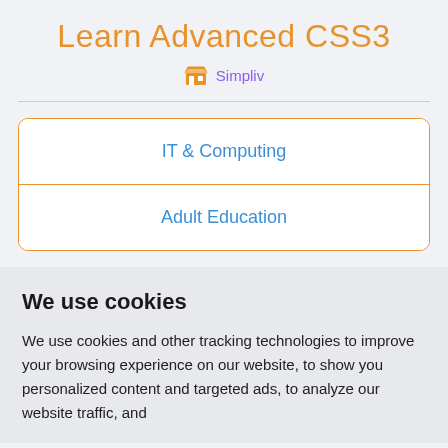Learn Advanced CSS3
Simpliv
IT & Computing
Adult Education
We use cookies
We use cookies and other tracking technologies to improve your browsing experience on our website, to show you personalized content and targeted ads, to analyze our website traffic, and